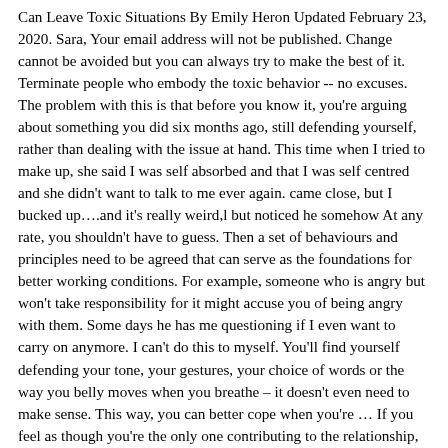Can Leave Toxic Situations By Emily Heron Updated February 23, 2020. Sara, Your email address will not be published. Change cannot be avoided but you can always try to make the best of it. Terminate people who embody the toxic behavior -- no excuses. The problem with this is that before you know it, you're arguing about something you did six months ago, still defending yourself, rather than dealing with the issue at hand. This time when I tried to make up, she said I was self absorbed and that I was self centred and she didn't want to talk to me ever again. came close, but I bucked up….and it's really weird,l but noticed he somehow At any rate, you shouldn't have to guess. Then a set of behaviours and principles need to be agreed that can serve as the foundations for better working conditions. For example, someone who is angry but won't take responsibility for it might accuse you of being angry with them. Some days he has me questioning if I even want to carry on anymore. I can't do this to myself. You'll find yourself defending your tone, your gestures, your choice of words or the way you belly moves when you breathe – it doesn't even need to make sense. This way, you can better cope when you're … If you feel as though you're the only one contributing to the relationship, you're probably right. The deciding factor? You can only offer them kindness and support. People who care about you won't let you go on feeling rubbish without attempting to sort it out. Hi, Said housemate 1 Dedicated to your stories and ideas. They might be prickly, sad, cold or cranky and when you ask if there's something wrong, the answer will likely be 'nothing'… but